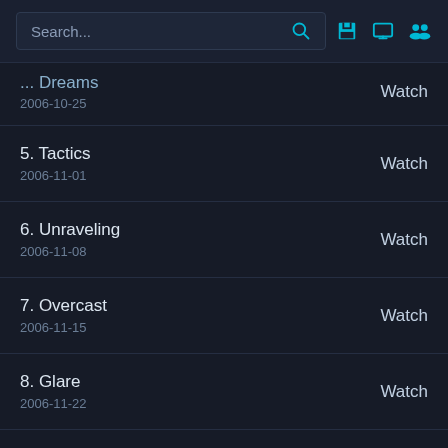Search...
... Dreams
2006-10-25
Watch
5. Tactics
2006-11-01
Watch
6. Unraveling
2006-11-08
Watch
7. Overcast
2006-11-15
Watch
8. Glare
2006-11-22
Watch
9. Encounter
2006-11-29
Watch
10. Doubt